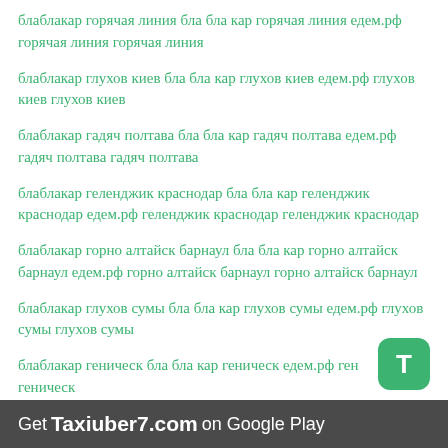блаблакар горячая линия бла бла кар горячая линия едем.рф горячая линия горячая линия
блаблакар глухов киев бла бла кар глухов киев едем.рф глухов киев глухов киев
блаблакар гадяч полтава бла бла кар гадяч полтава едем.рф гадяч полтава гадяч полтава
блаблакар геленджик краснодар бла бла кар геленджик краснодар едем.рф геленджик краснодар геленджик краснодар
блаблакар горно алтайск барнаул бла бла кар горно алтайск барнаул едем.рф горно алтайск барнаул горно алтайск барнаул
блаблакар глухов сумы бла бла кар глухов сумы едем.рф глухов сумы глухов сумы
блаблакар геническ бла бла кар геническ едем.рф ген… геническ
блаблакар германия бла бла кар германия едем.рф германия германия
Get Taxiuber7.com on Google Play